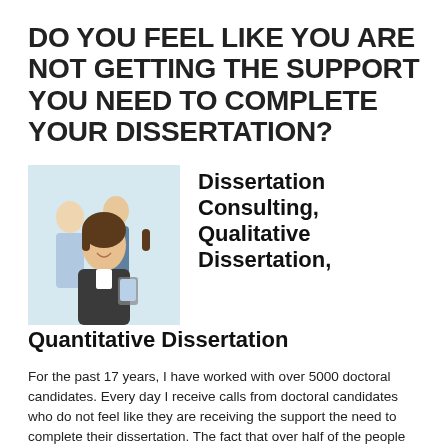DO YOU FEEL LIKE YOU ARE NOT GETTING THE SUPPORT YOU NEED TO COMPLETE YOUR DISSERTATION?
[Figure (photo): A smiling businesswoman in a suit in the foreground, with two colleagues (a man with a tie and a woman) in the background in an office setting.]
Dissertation Consulting, Qualitative Dissertation, Quantitative Dissertation
For the past 17 years, I have worked with over 5000 doctoral candidates. Every day I receive calls from doctoral candidates who do not feel like they are receiving the support the need to complete their dissertation. The fact that over half of the people who...